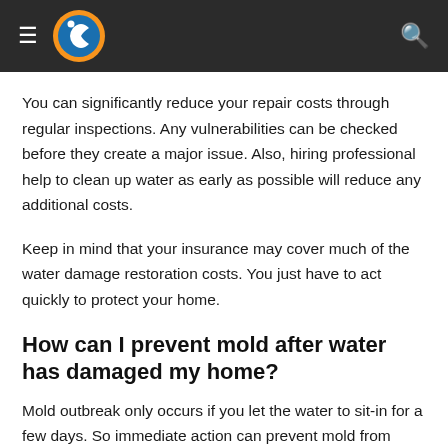You can significantly reduce your repair costs through regular inspections. Any vulnerabilities can be checked before they create a major issue. Also, hiring professional help to clean up water as early as possible will reduce any additional costs.
Keep in mind that your insurance may cover much of the water damage restoration costs. You just have to act quickly to protect your home.
How can I prevent mold after water has damaged my home?
Mold outbreak only occurs if you let the water to sit-in for a few days. So immediate action can prevent mold from